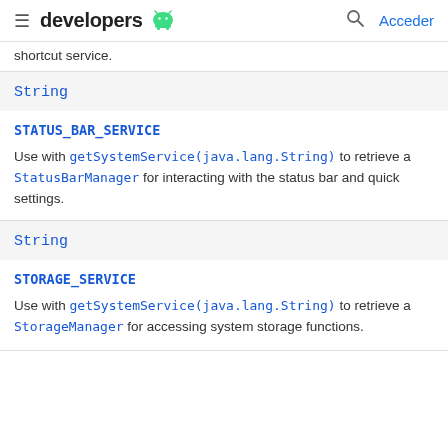developers [android logo] Acceder
shortcut service.
String
STATUS_BAR_SERVICE
Use with getSystemService(java.lang.String) to retrieve a StatusBarManager for interacting with the status bar and quick settings.
String
STORAGE_SERVICE
Use with getSystemService(java.lang.String) to retrieve a StorageManager for accessing system storage functions.